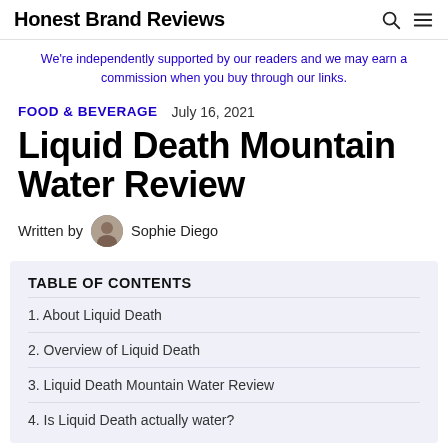Honest Brand Reviews
We're independently supported by our readers and we may earn a commission when you buy through our links.
FOOD & BEVERAGE  July 16, 2021
Liquid Death Mountain Water Review
Written by Sophie Diego
TABLE OF CONTENTS
1. About Liquid Death
2. Overview of Liquid Death
3. Liquid Death Mountain Water Review
4. Is Liquid Death actually water?